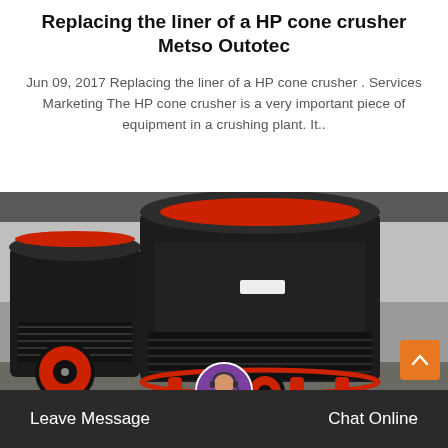Replacing the liner of a HP cone crusher
Metso Outotec
Jun 09, 2017 Replacing the liner of a HP cone crusher . Services Marketing The HP cone crusher is a very important piece of equipment in a crushing plant. It..
[Figure (photo): Industrial HP cone crushers (black and red) in a factory/warehouse setting, viewed from the side. Multiple units visible with spring assemblies and red drive wheels.]
Leave Message   Chat Online